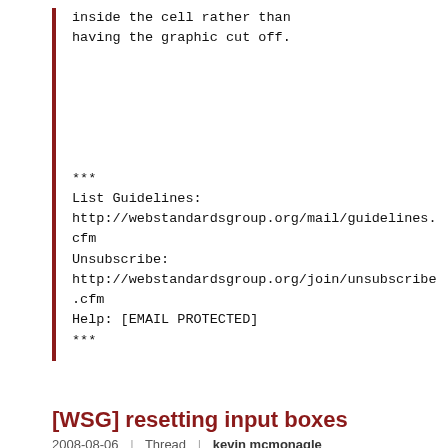inside the cell rather than having the graphic cut off.
***
List Guidelines: http://webstandardsgroup.org/mail/guidelines.cfm
Unsubscribe: http://webstandardsgroup.org/join/unsubscribe.cfm
Help: [EMAIL PROTECTED]
***
[WSG] resetting input boxes
2008-08-06 | Thread | kevin mcmonagle
can they be set for consistency across